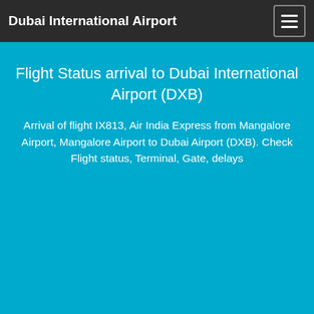Dubai International Airport
Flight Status arrival to Dubai International Airport (DXB)
Arrival of flight IX813, Air India Express from Mangalore Airport, Mangalore Airport to Dubai Airport (DXB). Check Flight status, Terminal, Gate, delays